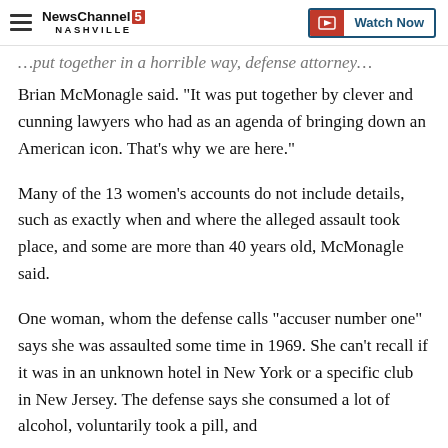NewsChannel 5 Nashville | Watch Now
...put together in a horrible way, defense attorney Brian McMonagle said. "It was put together by clever and cunning lawyers who had as an agenda of bringing down an American icon. That's why we are here."
Many of the 13 women's accounts do not include details, such as exactly when and where the alleged assault took place, and some are more than 40 years old, McMonagle said.
One woman, whom the defense calls "accuser number one" says she was assaulted some time in 1969. She can't recall if it was in an unknown hotel in New York or a specific club in New Jersey. The defense says she consumed a lot of alcohol, voluntarily took a pill, and